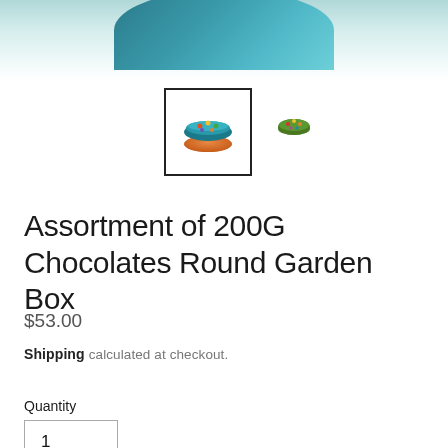[Figure (photo): Top portion of a round colorful chocolate box with teal/blue lid visible at top of page, cropped]
[Figure (photo): Two product thumbnail images: left one selected with black border showing two stacked round chocolate discs with colorful decorations (teal top, orange bottom); right one unselected showing a single round chocolate disc with green and red decorations]
Assortment of 200G Chocolates Round Garden Box
$53.00
Shipping calculated at checkout.
Quantity
1